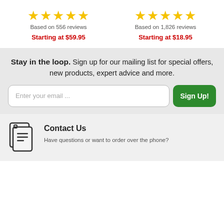★★★★★ Based on 556 reviews Starting at $59.95
★★★★★ Based on 1,826 reviews Starting at $18.95
Stay in the loop. Sign up for our mailing list for special offers, new products, expert advice and more.
Enter your email ...
Sign Up!
Contact Us
Have questions or want to order over the phone?